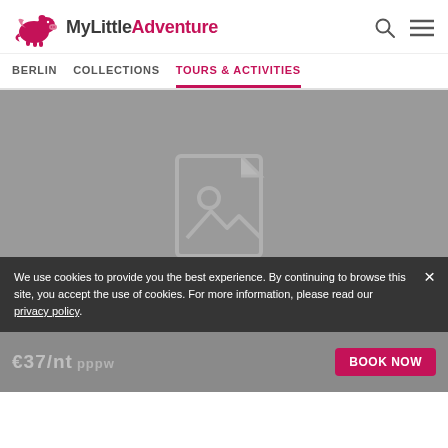[Figure (logo): MyLittleAdventure logo with flying pig icon, black and pink text]
BERLIN   COLLECTIONS   TOURS & ACTIVITIES
[Figure (photo): Gray placeholder image area with broken/missing image icon (document with landscape photo placeholder)]
We use cookies to provide you the best experience. By continuing to browse this site, you accept the use of cookies. For more information, please read our privacy policy.